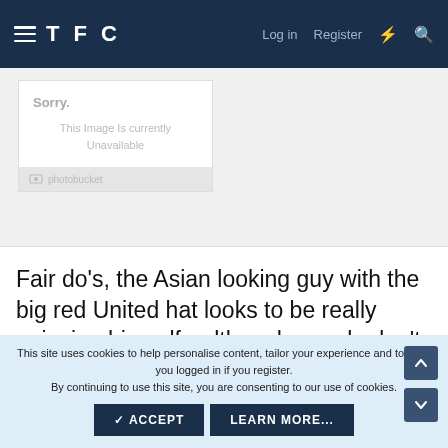TFC   Log in   Register
[Figure (screenshot): Photobucket image placeholder showing 'Sorry. This Image Is currently Unavailable' with photobucket logo bar]
Fair do's, the Asian looking guy with the big red United hat looks to be really enjoying himself - although people don't necessarily like tourist fans in the stadium, I'd rather see someone enjoying life and the match than
This site uses cookies to help personalise content, tailor your experience and to keep you logged in if you register.
By continuing to use this site, you are consenting to our use of cookies.
✓ ACCEPT   LEARN MORE...